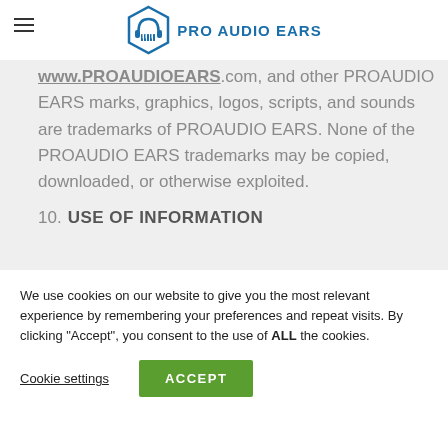[Figure (logo): Pro Audio Ears logo: blue hexagonal headphone icon with piano keys, and text PRO AUDIO EARS in blue]
www.PROAUDIOEARS.com, and other PROAUDIO EARS marks, graphics, logos, scripts, and sounds are trademarks of PROAUDIO EARS. None of the PROAUDIO EARS trademarks may be copied, downloaded, or otherwise exploited.
10. USE OF INFORMATION
We use cookies on our website to give you the most relevant experience by remembering your preferences and repeat visits. By clicking “Accept”, you consent to the use of ALL the cookies.
Cookie settings
ACCEPT